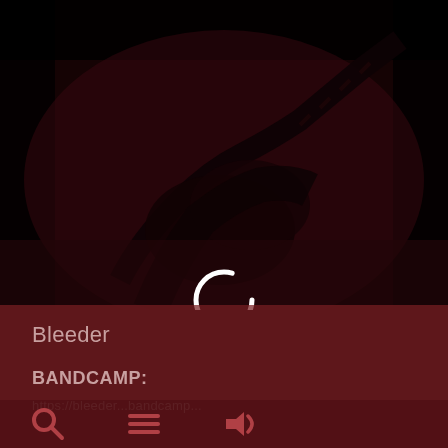[Figure (photo): Dark reddish-toned photo of a guitarist playing an electric guitar, dimly lit with heavy dark overlay. A circular loading spinner (white ring) is visible in the center-lower portion of the image.]
Bleeder
BANDCAMP:
https://bleeder...bandcamp...
[Figure (infographic): Bottom navigation bar with three icons: magnifying glass (search), three horizontal lines (menu), and a speaker/sound icon.]